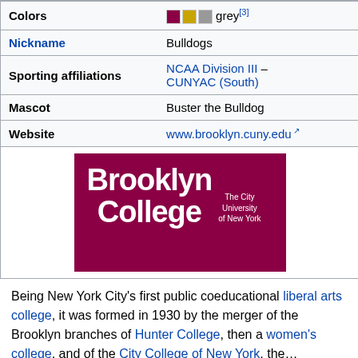| Field | Value |
| --- | --- |
| Colors | maroon, gold, grey[3] |
| Nickname | Bulldogs |
| Sporting affiliations | NCAA Division III – CUNYAC (South) |
| Mascot | Buster the Bulldog |
| Website | www.brooklyn.cuny.edu |
| Logo | Brooklyn College – The City University of New York logo |
[Figure (logo): Brooklyn College – The City University of New York logo, white text on maroon background]
Being New York City's first public coeducational liberal arts college, it was formed in 1930 by the merger of the Brooklyn branches of Hunter College, then a women's college, and of the City College of New York, then a...